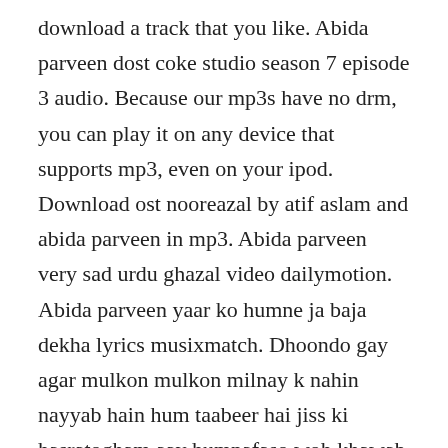download a track that you like. Abida parveen dost coke studio season 7 episode 3 audio. Because our mp3s have no drm, you can play it on any device that supports mp3, even on your ipod. Download ost nooreazal by atif aslam and abida parveen in mp3. Abida parveen very sad urdu ghazal video dailymotion. Abida parveen yaar ko humne ja baja dekha lyrics musixmatch. Dhoondo gay agar mulkon mulkon milnay k nahin nayyab hain hum taabeer hai jiss ki hasratogham aay humnafaso woh khawab hain hum aay dard bata kuch tu hi bata ab tak ye muamma hal na